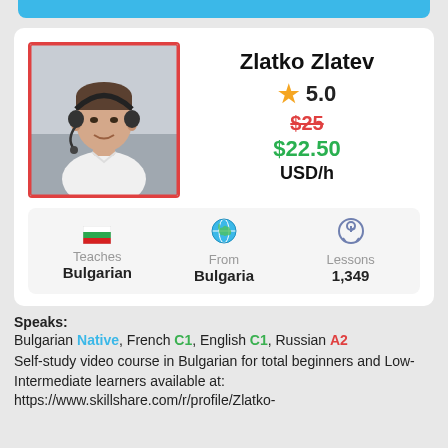[Figure (photo): Tutor profile photo of Zlatko Zlatev, a man wearing a white shirt and headset, seated indoors]
Zlatko Zlatev
⭐ 5.0
$25 (strikethrough) $22.50 USD/h
Teaches Bulgarian | From Bulgaria | Lessons 1,349
Speaks: Bulgarian Native, French C1, English C1, Russian A2
Self-study video course in Bulgarian for total beginners and Low-Intermediate learners available at: https://www.skillshare.com/r/profile/Zlatko-